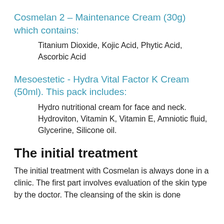Cosmelan 2 – Maintenance Cream (30g) which contains:
Titanium Dioxide, Kojic Acid, Phytic Acid, Ascorbic Acid
Mesoestetic - Hydra Vital Factor K Cream (50ml). This pack includes:
Hydro nutritional cream for face and neck. Hydroviton, Vitamin K, Vitamin E, Amniotic fluid, Glycerine, Silicone oil.
The initial treatment
The initial treatment with Cosmelan is always done in a clinic. The first part involves evaluation of the skin type by the doctor. The cleansing of the skin is done